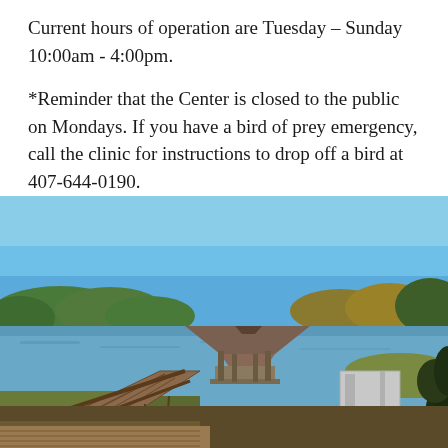Current hours of operation are Tuesday – Sunday 10:00am - 4:00pm.
*Reminder that the Center is closed to the public on Mondays. If you have a bird of prey emergency, call the clinic for instructions to drop off a bird at 407-644-0190.
[Figure (photo): Outdoor photo of a wooden boardwalk/pier leading to a covered gazebo structure over a lake, with blue sky, green trees, and grassy shoreline in the background.]